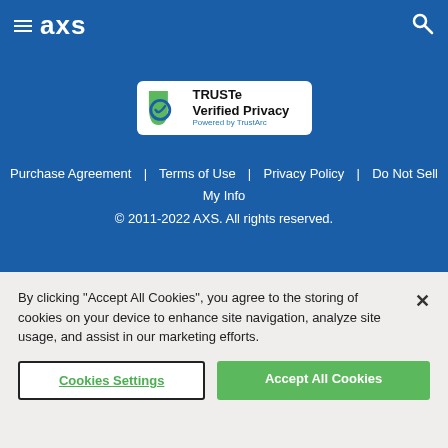AXS
[Figure (logo): TRUSTe Verified Privacy, Powered by TrustArc badge]
Purchase Agreement | Terms of Use | Privacy Policy | Do Not Sell My Info
© 2011-2022 AXS. All rights reserved.
By clicking "Accept All Cookies", you agree to the storing of cookies on your device to enhance site navigation, analyze site usage, and assist in our marketing efforts.
Cookies Settings
Accept All Cookies